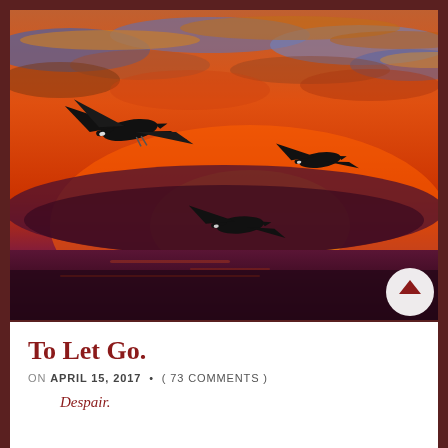[Figure (illustration): Oil painting of three Canada geese flying against a dramatic fiery sunset sky with vivid oranges, reds, blues and purples, over a dark reflective body of water.]
To Let Go.
ON APRIL 15, 2017 • ( 73 COMMENTS )
Despair.